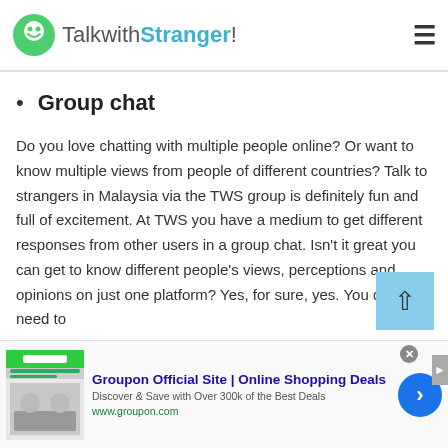TalkwithStranger!
Group chat
Do you love chatting with multiple people online? Or want to know multiple views from people of different countries? Talk to strangers in Malaysia via the TWS group is definitely fun and full of excitement. At TWS you have a medium to get different responses from other users in a group chat. Isn't it great you can get to know different people's views, perceptions and opinions on just one platform? Yes, for sure, yes. You don't need to
[Figure (screenshot): Groupon advertisement banner: Groupon Official Site | Online Shopping Deals. Discover & Save with Over 300k of the Best Deals. www.groupon.com]